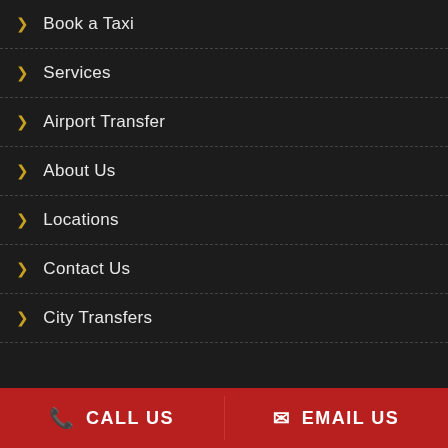Book a Taxi
Services
Airport Transfer
About Us
Locations
Contact Us
City Transfers
CALL US  |  EMAIL US